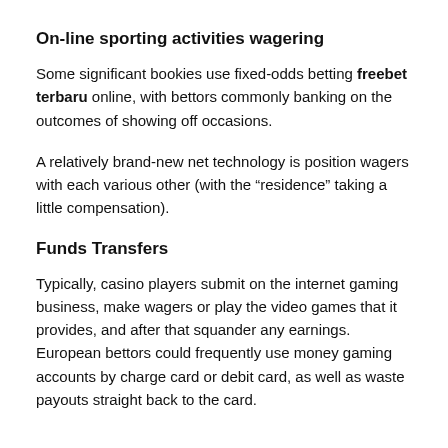On-line sporting activities wagering
Some significant bookies use fixed-odds betting freebet terbaru online, with bettors commonly banking on the outcomes of showing off occasions.
A relatively brand-new net technology is position wagers with each various other (with the “residence” taking a little compensation).
Funds Transfers
Typically, casino players submit on the internet gaming business, make wagers or play the video games that it provides, and after that squander any earnings. European bettors could frequently use money gaming accounts by charge card or debit card, as well as waste payouts straight back to the card.